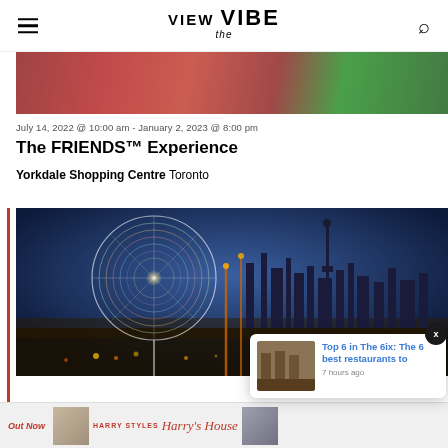VIEW the VIBE
[Figure (photo): Partial food/event photo at top of page]
July 14, 2022 @ 10:00 am - January 2, 2023 @ 8:00 pm
The FRIENDS™ Experience
Yorkdale Shopping Centre Toronto
[Figure (photo): Night photo of illuminated ferris wheel with Toronto skyline in background, colorful light trails]
[Figure (photo): Popup notification showing restaurant interior thumbnail with text: Top 6 in The 6ix: The 6 best restaurants to, 7 hours ago]
[Figure (photo): Bottom strip showing Out Now text and Harry Styles Harry's House album promotion]